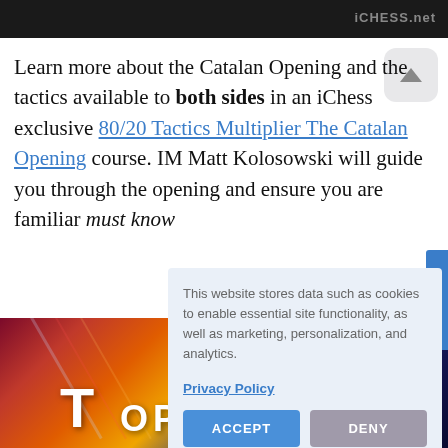[Figure (screenshot): Dark top bar from a chess website (iChess.net)]
Learn more about the Catalan Opening and the tactics available to both sides in an iChess exclusive 80/20 Tactics Multiplier The Catalan Opening course. IM Matt Kolosowski will guide you through the opening and ensure you are familiar with the must know
This website stores data such as cookies to enable essential site functionality, as well as marketing, personalization, and analytics.

Privacy Policy

ACCEPT   DENY
[Figure (screenshot): Bottom image showing colorful diagonal light streaks with large white text reading 'T' and 'OPENING']